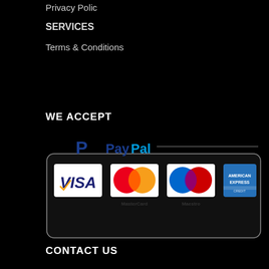Privacy Polic
SERVICES
Terms & Conditions
WE ACCEPT
[Figure (logo): Payment methods box showing PayPal logo at top with a horizontal line, and below: VISA, MasterCard, Maestro, and American Express card logos inside a rounded rectangle border]
CONTACT US